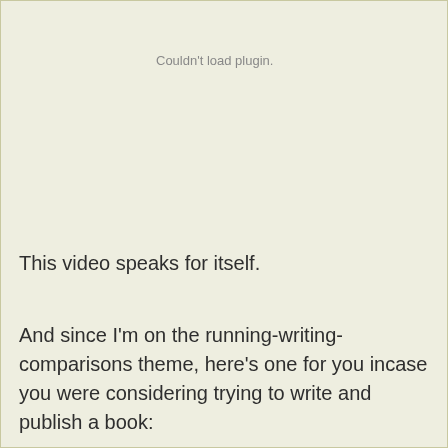Couldn't load plugin.
This video speaks for itself.
And since I'm on the running-writing-comparisons theme, here's one for you incase you were considering trying to write and publish a book: